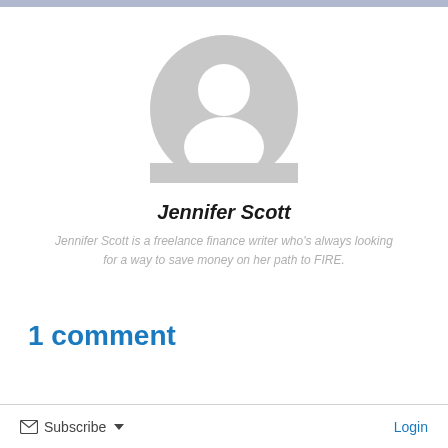[Figure (illustration): Generic user avatar: a grey circle with a silhouette of a person (head and shoulders), used as a placeholder profile image.]
Jennifer Scott
Jennifer Scott is a freelance finance writer who's always looking for a way to save money on her path to FIRE.
1 comment
Subscribe
Login